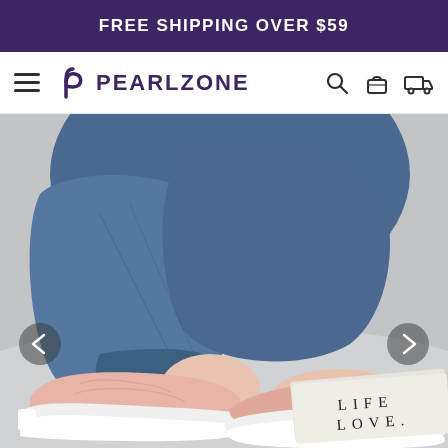FREE SHIPPING OVER $59
PEARLZONE
[Figure (photo): Close-up photo of a woman wearing pink knit slip-on shoes with white soles, seated on the ground wearing distressed blue jeans. A book or magazine with 'LIFE LOVE' text is visible in the lower right. Navigation carousel arrows are visible on the left and right sides of the image.]